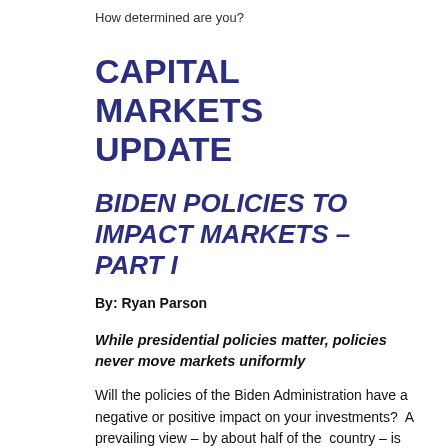How determined are you?
CAPITAL MARKETS UPDATE
BIDEN POLICIES TO IMPACT MARKETS – PART I
By: Ryan Parson
While presidential policies matter, policies never move markets uniformly
Will the policies of the Biden Administration have a negative or positive impact on your investments?  A prevailing view – by about half of the  country – is that a Biden Administration would have a positive impact on the stock market. Another prevailing view – also by about half